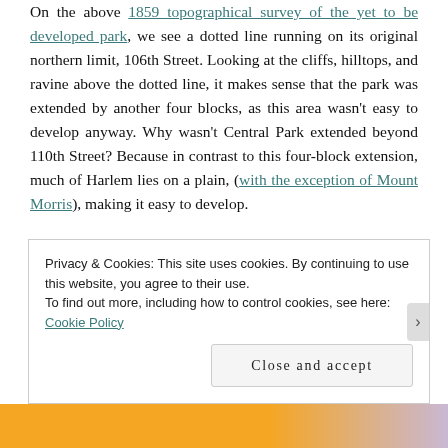On the above 1859 topographical survey of the yet to be developed park, we see a dotted line running on its original northern limit, 106th Street. Looking at the cliffs, hilltops, and ravine above the dotted line, it makes sense that the park was extended by another four blocks, as this area wasn't easy to develop anyway. Why wasn't Central Park extended beyond 110th Street? Because in contrast to this four-block extension, much of Harlem lies on a plain, (with the exception of Mount Morris), making it easy to develop.
Privacy & Cookies: This site uses cookies. By continuing to use this website, you agree to their use.
To find out more, including how to control cookies, see here: Cookie Policy
Close and accept